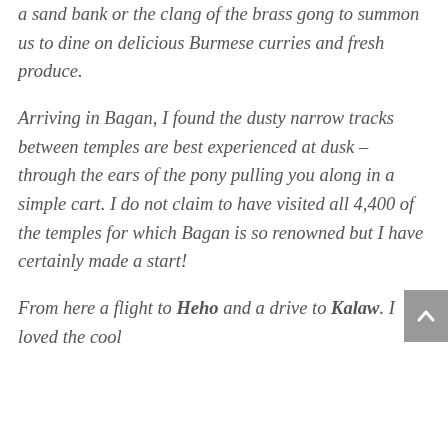a sand bank or the clang of the brass gong to summon us to dine on delicious Burmese curries and fresh produce.
Arriving in Bagan, I found the dusty narrow tracks between temples are best experienced at dusk – through the ears of the pony pulling you along in a simple cart. I do not claim to have visited all 4,400 of the temples for which Bagan is so renowned but I have certainly made a start!
From here a flight to Heho and a drive to Kalaw. I loved the cool